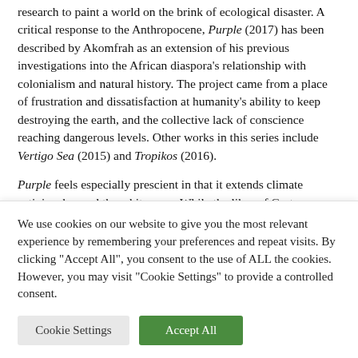research to paint a world on the brink of ecological disaster. A critical response to the Anthropocene, Purple (2017) has been described by Akomfrah as an extension of his previous investigations into the African diaspora's relationship with colonialism and natural history. The project came from a place of frustration and dissatisfaction at humanity's ability to keep destroying the earth, and the collective lack of conscience reaching dangerous levels. Other works in this series include Vertigo Sea (2015) and Tropikos (2016).
Purple feels especially prescient in that it extends climate activism beyond the white gaze. While the likes of Greta Thunberg have received international fame and acclaim,
We use cookies on our website to give you the most relevant experience by remembering your preferences and repeat visits. By clicking "Accept All", you consent to the use of ALL the cookies. However, you may visit "Cookie Settings" to provide a controlled consent.